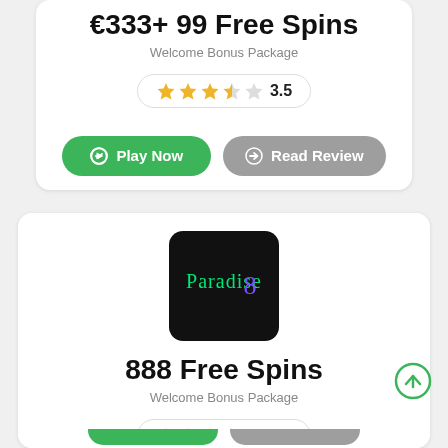€333+ 99 Free Spins
Welcome Bonus Package
3.5
Play Now
Read Review
[Figure (logo): Paradise8 casino logo — black square with green and purple script text]
888 Free Spins
Welcome Bonus Package
3.5